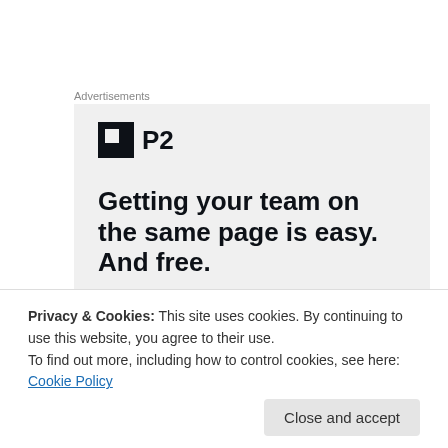Advertisements
[Figure (logo): P2 advertisement banner. Shows the P2 logo (a dark square icon with a smaller square cutout) next to bold text 'P2', followed by tagline: 'Getting your team on the same page is easy. And free.']
Last Tuesday, I had arranged a dinner for myself, Mr
Privacy & Cookies: This site uses cookies. By continuing to use this website, you agree to their use.
To find out more, including how to control cookies, see here: Cookie Policy
and I think the last time I was there was when I was in my